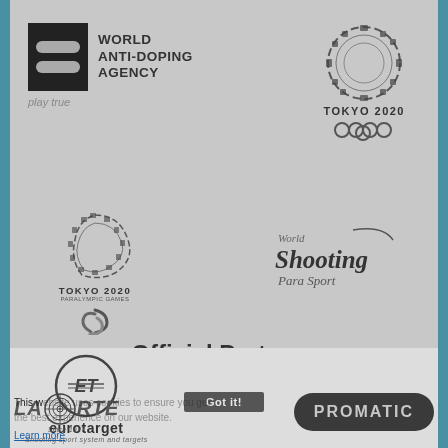[Figure (logo): World Anti-Doping Agency (WADA) logo with black emblem box containing two horizontal oval stripes, text WORLD ANTI-DOPING AGENCY and tagline play true]
[Figure (logo): Tokyo 2020 Olympic Games logo - checkered circle design with TOKYO 2020 text and Olympic rings]
[Figure (logo): Tokyo 2020 Paralympic Games logo - checkered crescent design with TOKYO 2020 PARALYMPIC GAMES text and Paralympic symbol]
[Figure (logo): World Shooting Para Sport logo with curved line and italic text]
Official Partners
[Figure (logo): LAPORTE logo - large italic text with target/bullseye circle and 'Since 1927' tagline]
[Figure (logo): PROMATIC logo in dark oval/pill shaped background with light text]
This website uses cookies to ensure you get the best experience on our website.
Learn more
Got it!
[Figure (logo): eurotarget logo with ET monogram in circle and text 'eurotarget - Shooting sport system and targets']